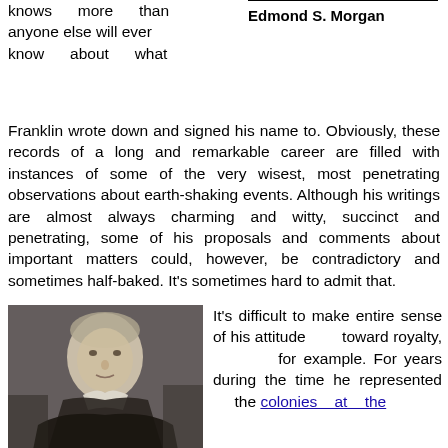knows more than anyone else will ever know about what Franklin wrote down and signed his name to. Obviously, these records of a long and remarkable career are filled with instances of some of the very wisest, most penetrating observations about earth-shaking events. Although his writings are almost always charming and witty, succinct and penetrating, some of his proposals and comments about important matters could, however, be contradictory and sometimes half-baked. It's sometimes hard to admit that.
Edmond S. Morgan
[Figure (photo): Black and white portrait of Benjamin Franklin, showing him in formal attire with a white collar, painted in a classical style.]
It's difficult to make entire sense of his attitude toward royalty, for example. For years during the time he represented the colonies at the